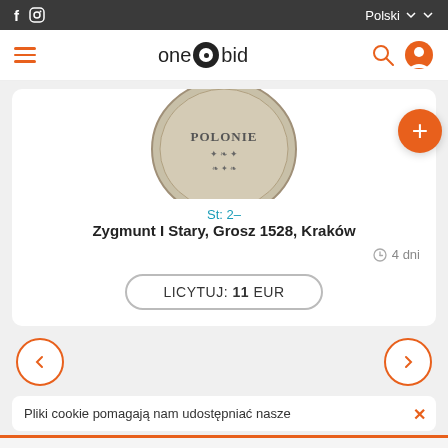f  ig  Polski
[Figure (logo): onebid logo with hamburger menu, search icon and user icon]
[Figure (photo): Coin - Zygmunt I Stary, Grosz 1528, Kraków - showing POLONIE text on coin reverse]
St: 2-
Zygmunt I Stary, Grosz 1528, Kraków
4 dni
LICYTUJ: 11 EUR
Pliki cookie pomagają nam udostępniać nasze
Notatka